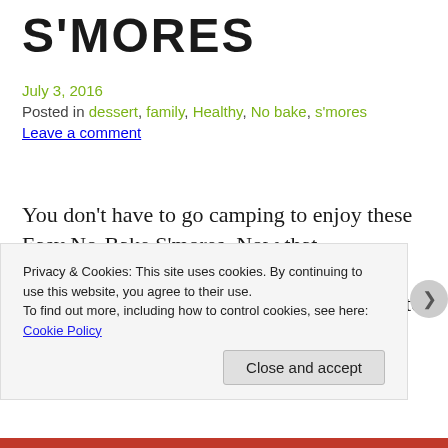S'MORES
July 3, 2016
Posted in dessert, family, Healthy, No bake, s'mores
Leave a comment
You don't have to go camping to enjoy these Easy No-Bake S'mores. Now that summertime is here in all of her hot glory, a lot of families are heading to campgrounds to get away from it all. One of the
Privacy & Cookies: This site uses cookies. By continuing to use this website, you agree to their use.
To find out more, including how to control cookies, see here: Cookie Policy

Close and accept